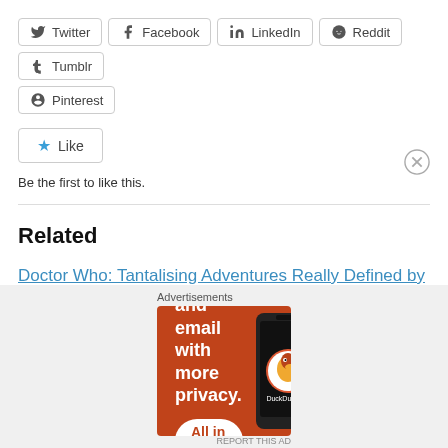Twitter
Facebook
LinkedIn
Reddit
Tumblr
Pinterest
Like
Be the first to like this.
Related
Doctor Who: Tantalising Adventures Really Defined by Incoming Sequel
November 3, 2014
In "dark water review"
Advertisements
[Figure (screenshot): DuckDuckGo advertisement banner: orange background with text 'Search, browse, and email with more privacy. All in One Free App' and a phone image with DuckDuckGo logo]